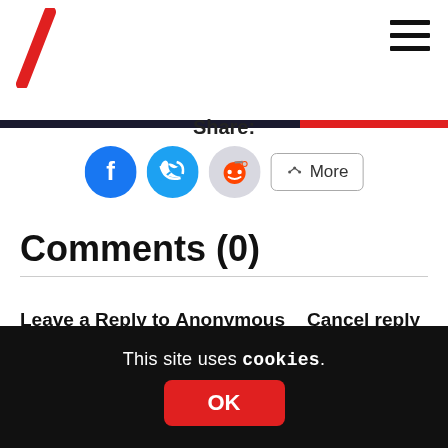[Figure (logo): Red diagonal slash logo (backslash shape) in top left corner]
[Figure (other): Hamburger menu icon (three horizontal lines) in top right corner]
Share:
[Figure (other): Social sharing buttons: Facebook (blue circle with f icon), Twitter (blue circle with bird icon), Reddit (light grey circle with alien icon), and a More button with share icon]
Comments (0)
Leave a Reply to Anonymous   Cancel reply
Your email address will not be published. Required fields are marked *
This site uses cookies.
OK